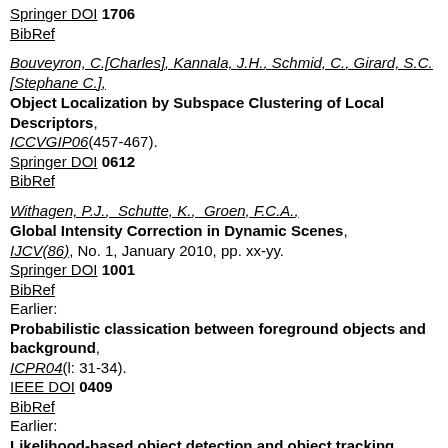Springer DOI 1706
BibRef
Bouveyron, C.[Charles], Kannala, J.H., Schmid, C., Girard, S.C.[Stephane C.], Object Localization by Subspace Clustering of Local Descriptors, ICCVGIP06(457-467). Springer DOI 0612 BibRef
Withagen, P.J., Schutte, K., Groen, F.C.A., Global Intensity Correction in Dynamic Scenes, IJCV(86), No. 1, January 2010, pp. xx-yy. Springer DOI 1001 BibRef Earlier: Probabilistic classication between foreground objects and background, ICPR04(l: 31-34). IEEE DOI 0409 BibRef Earlier: Likelihood-based object detection and object tracking using color histograms and EM,